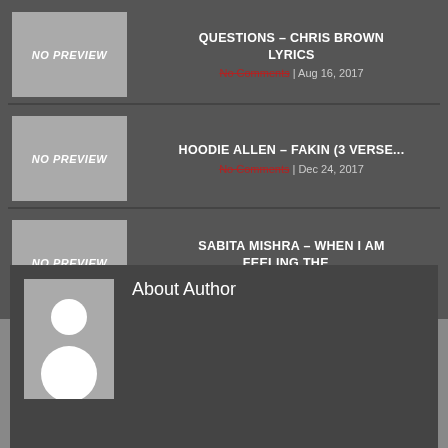[Figure (other): NO PREVIEW placeholder thumbnail for post 1]
QUESTIONS – CHRIS BROWN LYRICS
No Comments | Aug 16, 2017
[Figure (other): NO PREVIEW placeholder thumbnail for post 2]
HOODIE ALLEN – FAKIN (3 VERSE...
No Comments | Dec 24, 2017
[Figure (other): NO PREVIEW placeholder thumbnail for post 3]
SABITA MISHRA – WHEN I AM FEELING THE...
No Comments | Apr 27, 2018
About Author
[Figure (photo): Generic author avatar silhouette placeholder]